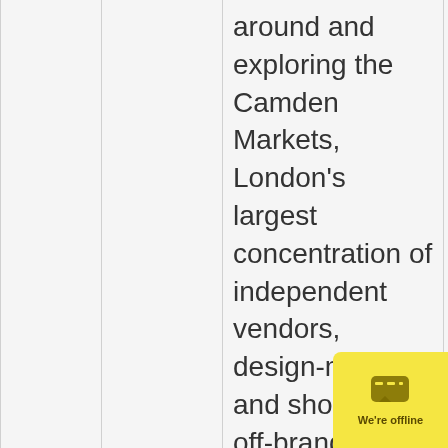around and exploring the Camden Markets, London's largest concentration of independent vendors, design-makers and shops for off-brand merchandise.
June 22
London
Today we will start with a
Ridgen Hotel